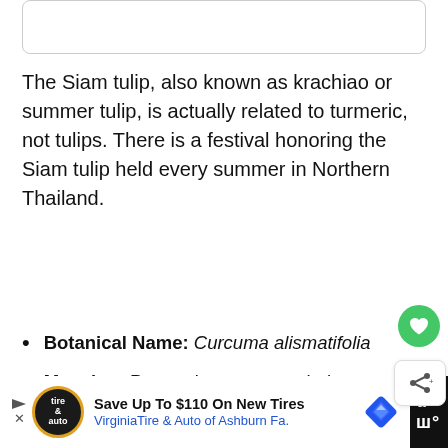[Figure (other): Partial view of a card or UI element at the top of the page]
The Siam tulip, also known as krachiao or summer tulip, is actually related to turmeric, not tulips. There is a festival honoring the Siam tulip held every summer in Northern Thailand.
Botanical Name: Curcuma alismatifolia
Meaning: Prosperity, new growth, hope for the future
Common Colors: Pink, red
[Figure (other): Advertisement banner: Save Up To $110 On New Tires - VirginiaTire & Auto of Ashburn Fa.]